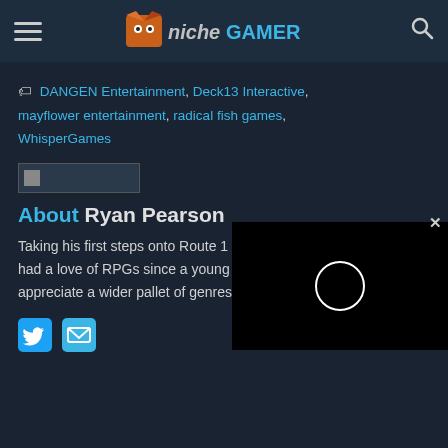Niche Gamer navigation bar with hamburger menu, logo, and search icon
DANGEN Entertainment, Deck13 Interactive, mayflower entertainment, radical fish games, WhisperGames
[Figure (screenshot): Broken image placeholder thumbnail]
[Figure (screenshot): Black video player with loading spinner circle, close button X]
About Ryan Pearson
Taking his first steps onto Route 1 and never stopping, Ryan has had a love of RPGs since a young age. Now he's learning to appreciate a wider pallet of genres and challenges.
[Figure (other): Social media icons: Twitter bird and email envelope]